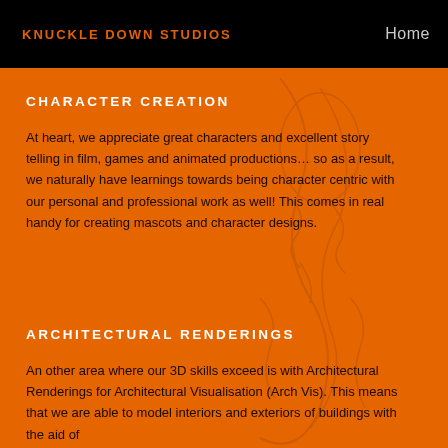KNUCKLE DOWN STUDIOS
Home
CHARACTER CREATION
At heart, we appreciate great characters and excellent story telling in film, games and animated productions… so as a result, we naturally have learnings towards being character centric with our personal and professional work as well! This comes in real handy for creating mascots and character designs.
ARCHITECTURAL RENDERINGS
An other area where our 3D skills exceed is with Architectural Renderings for Architectural Visualisation (Arch Vis). This means that we are able to model interiors and exteriors of buildings with the aid of